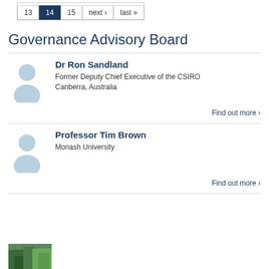13  14  15  next ›  last »
Governance Advisory Board
Dr Ron Sandland
Former Deputy Chief Executive of the CSIRO
Canberra, Australia
Find out more ›
Professor Tim Brown
Monash University
Find out more ›